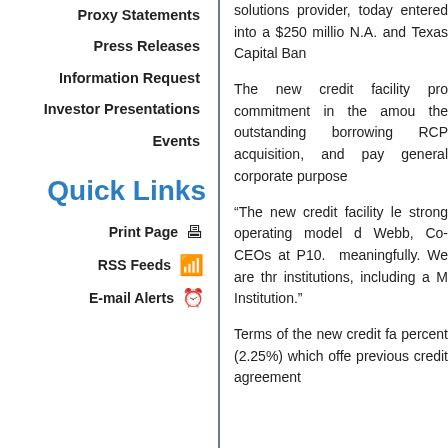Proxy Statements
Press Releases
Information Request
Investor Presentations
Events
Quick Links
Print Page
RSS Feeds
E-mail Alerts
solutions provider, today entered into a $250 million N.A. and Texas Capital Ban
The new credit facility pro commitment in the amount the outstanding borrowing RCP acquisition, and pay general corporate purpose
“The new credit facility le strong operating model d Webb, Co-CEOs at P10. meaningfully. We are thr institutions, including a M Institution.”
Terms of the new credit fa percent (2.25%) which offe previous credit agreement